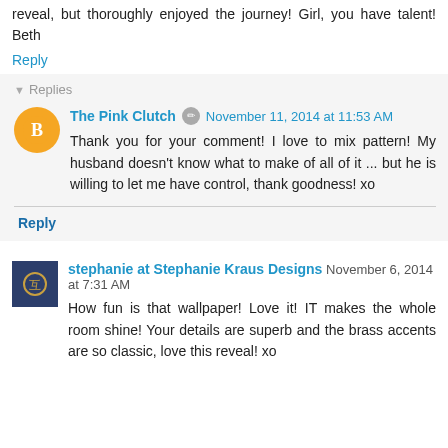reveal, but thoroughly enjoyed the journey! Girl, you have talent! Beth
Reply
Replies
The Pink Clutch  November 11, 2014 at 11:53 AM
Thank you for your comment! I love to mix pattern! My husband doesn't know what to make of all of it ... but he is willing to let me have control, thank goodness! xo
Reply
stephanie at Stephanie Kraus Designs  November 6, 2014 at 7:31 AM
How fun is that wallpaper! Love it! IT makes the whole room shine! Your details are superb and the brass accents are so classic, love this reveal! xo